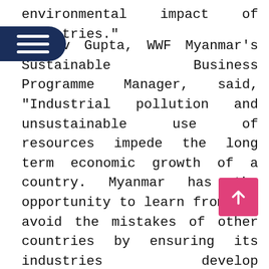environmental impact of industries."
Gaurav Gupta, WWF Myanmar's Sustainable Business Programme Manager, said, "Industrial pollution and unsustainable use of resources impede the long term economic growth of a country. Myanmar has the opportunity to learn from and avoid the mistakes of other countries by ensuring its industries develop sustainably with cleaner production. The Tha Bar Wa project will support industries to achieve this green growth vision."
The clean production initiative will begin with a training that provides Myanmar F&B companies with technical knowledge and the skills necessary to run a sustainable and environmentally friendly business.
Tha Bar Wa will facilitate access to finance and promote policies that encourage adoption of